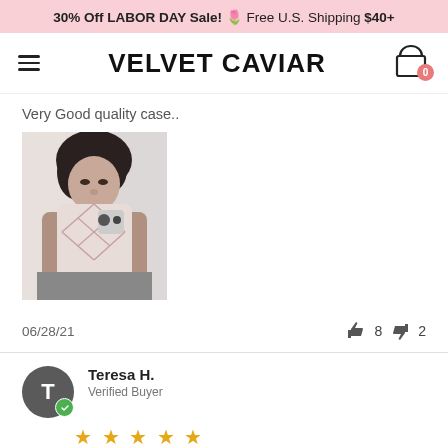30% Off LABOR DAY Sale! 🌷 Free U.S. Shipping $40+
VELVET CAVIAR
Very Good quality case..
[Figure (photo): Person taking a mirror selfie holding a phone with a decorative geometric pink/white case]
06/28/21  👍 8  👎 2
Teresa H.
Verified Buyer
★★★★★
I love my new iPhone
I love my new iPhone case, and have received a lot of